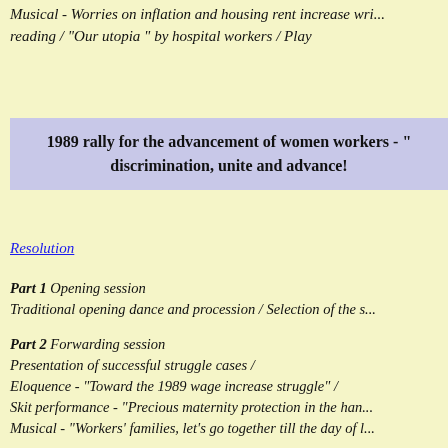Musical - Worries on inflation and housing rent increase wri... reading / "Our utopia" by hospital workers / Play
1989 rally for the advancement of women workers - "... discrimination, unite and advance!
Resolution
Part 1 Opening session
Traditional opening dance and procession / Selection of the s...
Part 2 Forwarding session
Presentation of successful struggle cases /
Eloquence - "Toward the 1989 wage increase struggle" /
Skit performance - "Precious maternity protection in the han...
Musical - "Workers' families, let's go together till the day of l...
Part 3 Determination session
Play - "Democratic union, our hope" / Resolution / Closing s...